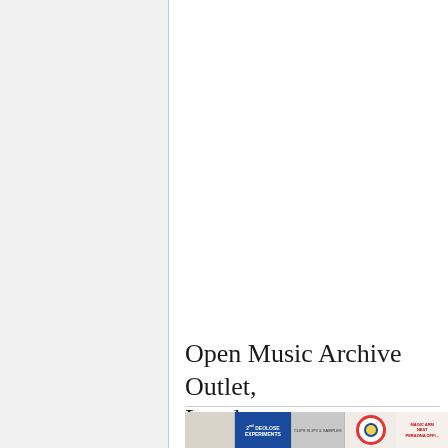Open Music Archive Outlet, London
[Figure (photo): Photo strip showing music archive materials including a blue booklet labeled 'Deolose Experiments', a grey album/clips samples cover, and a circular graphic design element, with text 'Magic Arm' visible on right segment]